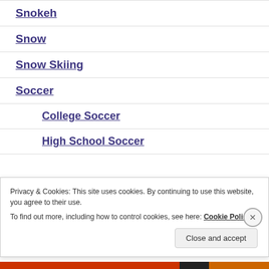Snokeh
Snow
Snow Skiing
Soccer
College Soccer
High School Soccer
Privacy & Cookies: This site uses cookies. By continuing to use this website, you agree to their use.
To find out more, including how to control cookies, see here: Cookie Policy
Close and accept